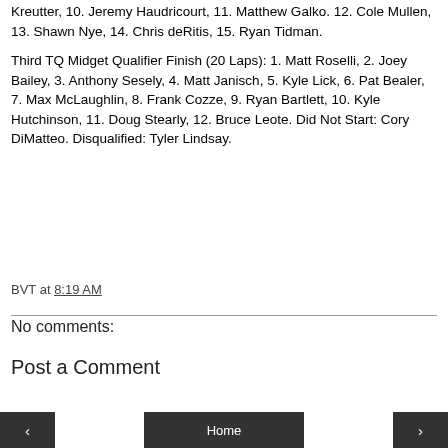Kreutter, 10. Jeremy Haudricourt, 11. Matthew Galko. 12. Cole Mullen, 13. Shawn Nye, 14. Chris deRitis, 15. Ryan Tidman.
Third TQ Midget Qualifier Finish (20 Laps): 1. Matt Roselli, 2. Joey Bailey, 3. Anthony Sesely, 4. Matt Janisch, 5. Kyle Lick, 6. Pat Bealer, 7. Max McLaughlin, 8. Frank Cozze, 9. Ryan Bartlett, 10. Kyle Hutchinson, 11. Doug Stearly, 12. Bruce Leote. Did Not Start: Cory DiMatteo. Disqualified: Tyler Lindsay.
BVT at 8:19 AM
No comments:
Post a Comment